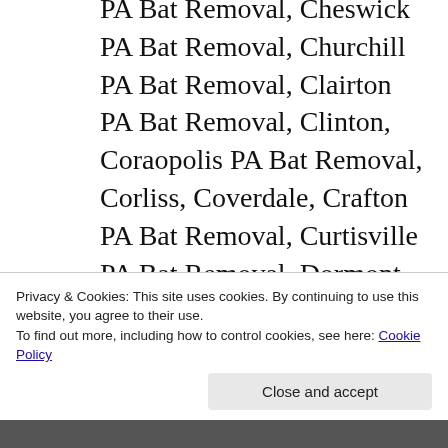PA Bat Removal, Cheswick PA Bat Removal, Churchill PA Bat Removal, Clairton PA Bat Removal, Clinton, Coraopolis PA Bat Removal, Corliss, Coverdale, Crafton PA Bat Removal, Curtisville PA Bat Removal, Dormont PA Bat Removal, Dravosburg, Duquesne, Duquesne Heights, East Carnegie, East
Privacy & Cookies: This site uses cookies. By continuing to use this website, you agree to their use.
To find out more, including how to control cookies, see here: Cookie Policy
Close and accept